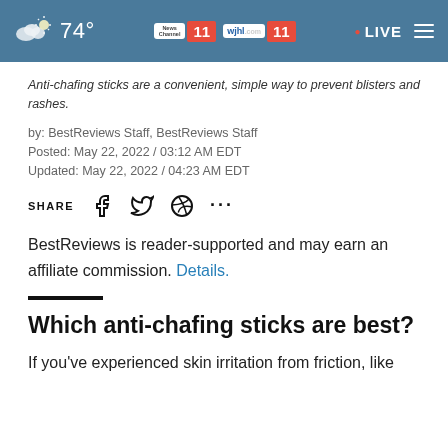74° News Channel 11 wjhl.com 11 • LIVE
Anti-chafing sticks are a convenient, simple way to prevent blisters and rashes.
by: BestReviews Staff, BestReviews Staff
Posted: May 22, 2022 / 03:12 AM EDT
Updated: May 22, 2022 / 04:23 AM EDT
SHARE [Facebook] [Twitter] [WhatsApp] ...
BestReviews is reader-supported and may earn an affiliate commission. Details.
Which anti-chafing sticks are best?
If you've experienced skin irritation from friction, like